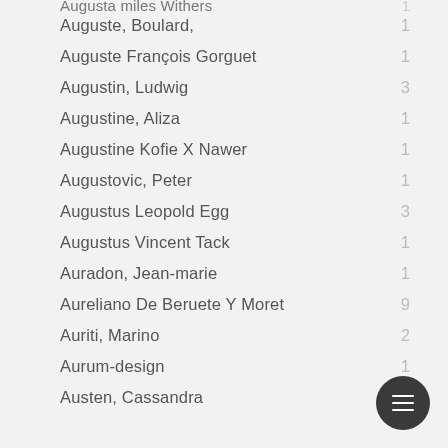Augusta miles Withers 1
Auguste, Boulard, 1
Auguste François Gorguet 1
Augustin, Ludwig 3
Augustine, Aliza 1
Augustine Kofie X Nawer 1
Augustovic, Peter 1
Augustus Leopold Egg 3
Augustus Vincent Tack 1
Auradon, Jean-marie 1
Aureliano De Beruete Y Moret 9
Auriti, Marino 2
Aurum-design 1
Austen, Cassandra 1